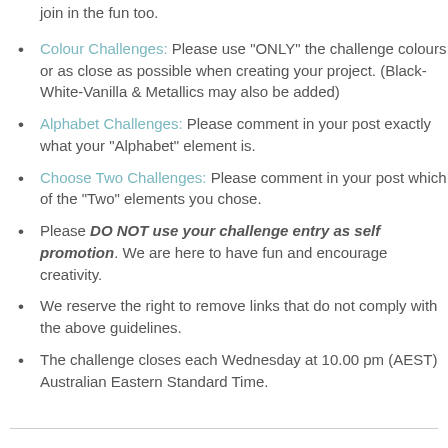join in the fun too.
Colour Challenges: Please use "ONLY" the challenge colours or as close as possible when creating your project. (Black-White-Vanilla & Metallics may also be added)
Alphabet Challenges: Please comment in your post exactly what your "Alphabet" element is.
Choose Two Challenges: Please comment in your post which of the "Two" elements you chose.
Please DO NOT use your challenge entry as self promotion. We are here to have fun and encourage creativity.
We reserve the right to remove links that do not comply with the above guidelines.
The challenge closes each Wednesday at 10.00 pm (AEST) Australian Eastern Standard Time.